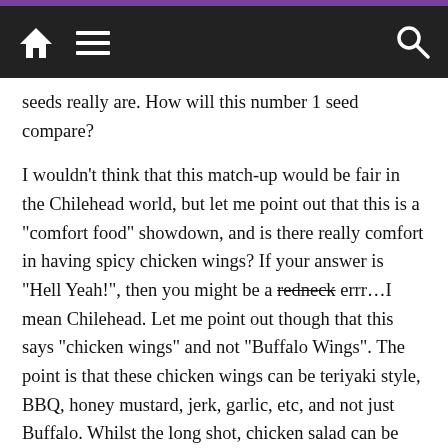Navigation bar with home, menu, and search icons
seeds really are. How will this number 1 seed compare?
I wouldn't think that this match-up would be fair in the Chilehead world, but let me point out that this is a “comfort food” showdown, and is there really comfort in having spicy chicken wings? If your answer is “Hell Yeah!”, then you might be a redneck errr…I mean Chilehead. Let me point out though that this says “chicken wings” and not “Buffalo Wings”. The point is that these chicken wings can be teriyaki style, BBQ, honey mustard, jerk, garlic, etc, and not just Buffalo. Whilst the long shot, chicken salad can be scooped onto a plate of greens, placed in a sammich like the above pictured croissant or perhaps served in a hollowed out cantaloupe with a drizzle of balsamic vinegar. It could also be mixed with nuts, seeds, fruits or a family secret addition that would make a cafeteria lady cry. Whatever